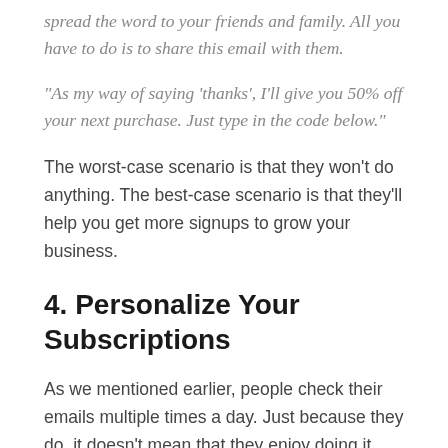spread the word to your friends and family. All you have to do is to share this email with them.
“As my way of saying ‘thanks’, I’ll give you 50% off your next purchase. Just type in the code below.”
The worst-case scenario is that they won’t do anything. The best-case scenario is that they’ll help you get more signups to grow your business.
4. Personalize Your Subscriptions
As we mentioned earlier, people check their emails multiple times a day. Just because they do, it doesn’t mean that they enjoy doing it. Sometimes email notifications can be bothersome.